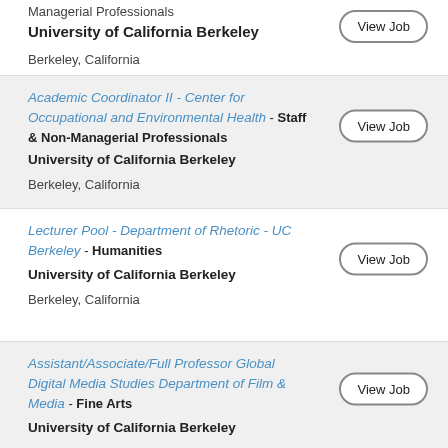Managerial Professionals
University of California Berkeley
Berkeley, California
Academic Coordinator II - Center for Occupational and Environmental Health - Staff & Non-Managerial Professionals
University of California Berkeley
Berkeley, California
Lecturer Pool - Department of Rhetoric - UC Berkeley - Humanities
University of California Berkeley
Berkeley, California
Assistant/Associate/Full Professor Global Digital Media Studies Department of Film & Media - Fine Arts
University of California Berkeley